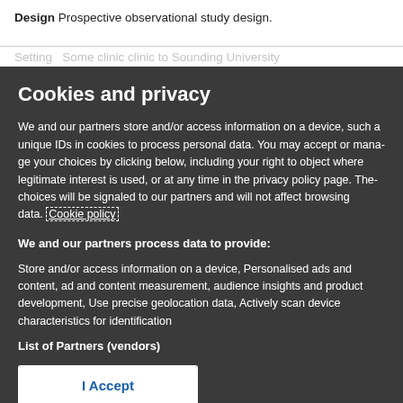Design Prospective observational study design.
Setting Some clinic clinic to Sounding University
Cookies and privacy
We and our partners store and/or access information on a device, such a unique IDs in cookies to process personal data. You may accept or manage your choices by clicking below, including your right to object where legitimate interest is used, or at any time in the privacy policy page. These choices will be signaled to our partners and will not affect browsing data. Cookie policy
We and our partners process data to provide:
Store and/or access information on a device, Personalised ads and content, ad and content measurement, audience insights and product development, Use precise geolocation data, Actively scan device characteristics for identification
List of Partners (vendors)
I Accept